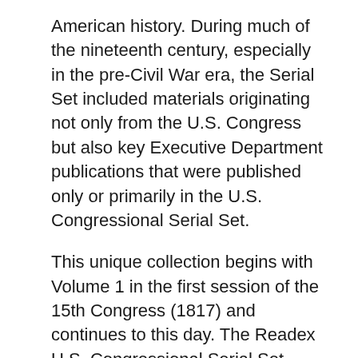American history. During much of the nineteenth century, especially in the pre-Civil War era, the Serial Set included materials originating not only from the U.S. Congress but also key Executive Department publications that were published only or primarily in the U.S. Congressional Serial Set.
This unique collection begins with Volume 1 in the first session of the 15th Congress (1817) and continues to this day. The Readex U.S. Congressional Serial Set (1817-1980) will contain all publications from the 15th through the 96th Congresses, together with American State Papers (a retrospective collection of materials originating from 1789 through 1838 but published in the second quarter of the 19th